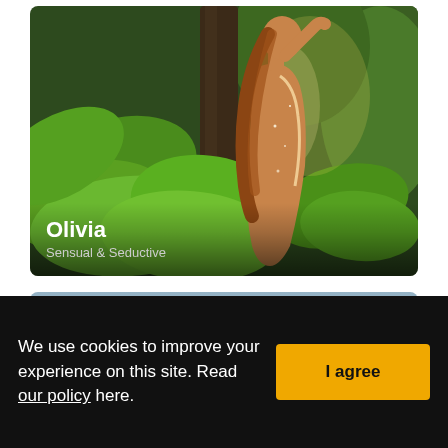[Figure (photo): Woman with long red hair standing among tropical green jungle leaves, facing away, with sunlight on her back. Name overlay: Olivia. Subtitle: Sensual & Seductive.]
[Figure (photo): Partial view of a blurred blue/grey fabric or bedding scene.]
We use cookies to improve your experience on this site. Read our policy here.
I agree